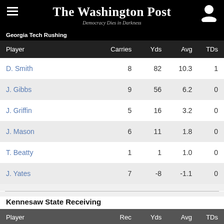The Washington Post — Democracy Dies in Darkness
Georgia Tech Rushing
| Player | Carries | Yds | Avg | TDs |
| --- | --- | --- | --- | --- |
| D. Smith | 8 | 82 | 10.3 | 1 |
| J. Gibbs | 9 | 56 | 6.2 | 0 |
| J. Griffin | 5 | 16 | 3.2 | 0 |
| J. Mason | 6 | 11 | 1.8 | 0 |
| T. Beatty | 1 | 1 | 1.0 | 0 |
| J. Yates | 7 | -8 | -1.1 | 0 |
Kennesaw State Receiving
| Player | Rec | Yds | Avg | TDs |
| --- | --- | --- | --- | --- |